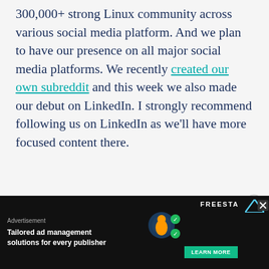300,000+ strong Linux community across various social media platform. And we plan to have our presence on all major social media platforms. We recently created our own subreddit and this week we also made our debut on LinkedIn. I strongly recommend following us on LinkedIn as we'll have more focused content there.
[Figure (other): Green button with white text reading 'Follow It's FOSS on LinkedIn']
Above all, it has earned the respect of our dear read... almo...
[Figure (other): Advertisement overlay: 'Tailored ad management solutions for every publisher' with FREESTA branding and LEARN MORE button on dark background]